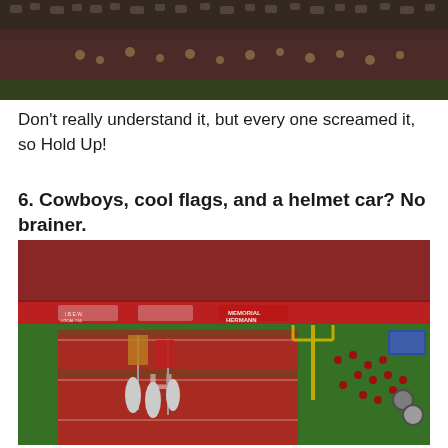[Figure (photo): Aerial view of a marching band performing in a stadium with red stands filled with spectators wearing red]
Don't really understand it, but every one screamed it, so Hold Up!
6. Cowboys, cool flags, and a helmet car? No brainer.
[Figure (photo): Football field at TDECU/Memorial Hermann stadium (University of Houston) showing a marching band and flag bearers on the red-painted field with yellow goal posts, stadium sponsors signage visible on the wall, and stands filled with fans in red]